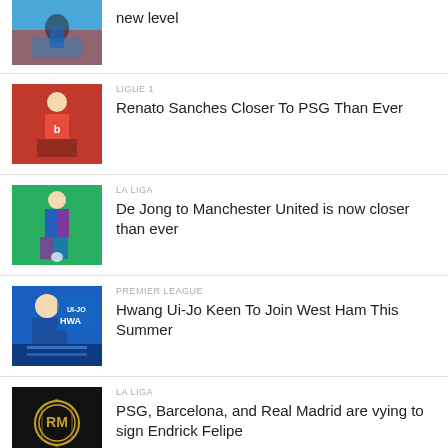[Figure (photo): Soccer player in blue kit running on field]
new level
[Figure (photo): Renato Sanches in red Lille kit]
LIGUE 1
Renato Sanches Closer To PSG Than Ever
[Figure (photo): De Jong in Barcelona kit on green pitch]
LA LIGA
De Jong to Manchester United is now closer than ever
[Figure (photo): Hwang Ui-Jo in blue kit with name graphic]
PREMIER LEAGUE
Hwang Ui-Jo Keen To Join West Ham This Summer
[Figure (photo): Real Madrid badge on dark background]
LA LIGA
PSG, Barcelona, and Real Madrid are vying to sign Endrick Felipe